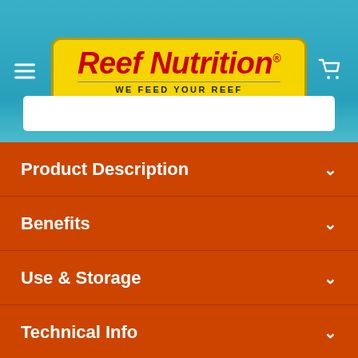[Figure (logo): Reef Nutrition logo with yellow rounded rectangle background, red italic text reading 'Reef Nutrition' with registered trademark symbol, and tagline 'WE FEED YOUR REEF']
Product Description
Benefits
Use & Storage
Technical Info